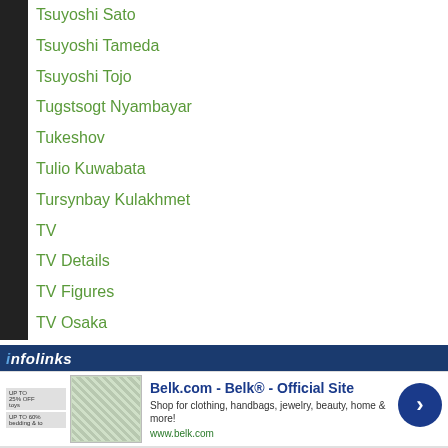Tsuyoshi Sato
Tsuyoshi Tameda
Tsuyoshi Tojo
Tugstsogt Nyambayar
Tukeshov
Tulio Kuwabata
Tursynbay Kulakhmet
TV
TV Details
TV Figures
TV Osaka
Tv Tokyo
Twitcasting
Ukyo Yoshigai
Ulugbek Mubinov
Ulugbek Sobirov
[Figure (screenshot): Infolinks advertisement bar with Belk.com ad showing clothing/bedding products]